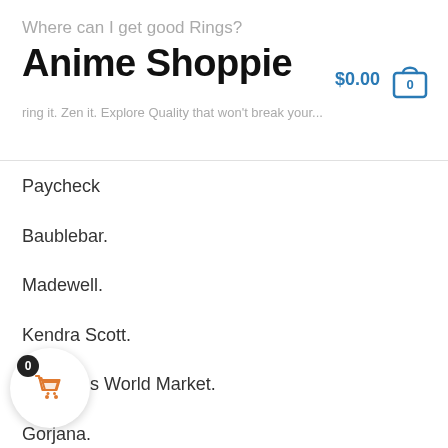Where can I get good Rings?
Anime Shoppie
$0.00
ring it. Zen it. Explore Quality that won't break your...
Paycheck
Baublebar.
Madewell.
Kendra Scott.
Cost Plus World Market.
Gorjana.
& Other Stories.
Etsy.